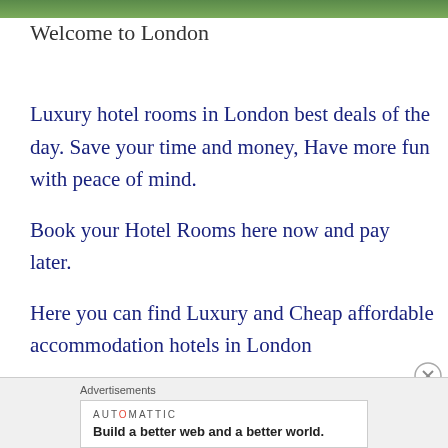[Figure (photo): Top banner image showing greenery/nature scene, partially visible at top of page]
Welcome to London
Luxury hotel rooms in London best deals of the day. Save your time and money, Have more fun with peace of mind.
Book your Hotel Rooms here now and pay later.
Here you can find Luxury and Cheap affordable accommodation hotels in London
Advertisements
[Figure (screenshot): Advertisement box: AUTOMATTIC logo with tagline 'Build a better web and a better world.']